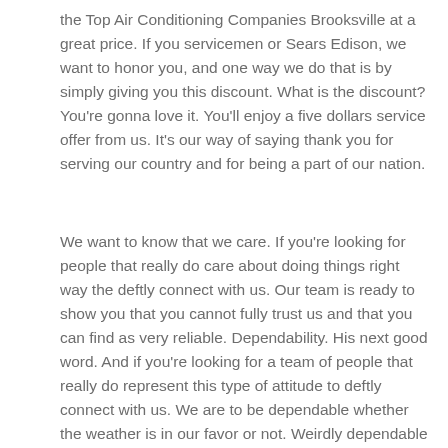the Top Air Conditioning Companies Brooksville at a great price. If you servicemen or Sears Edison, we want to honor you, and one way we do that is by simply giving you this discount. What is the discount? You're gonna love it. You'll enjoy a five dollars service offer from us. It's our way of saying thank you for serving our country and for being a part of our nation.
We want to know that we care. If you're looking for people that really do care about doing things right way the deftly connect with us. Our team is ready to show you that you cannot fully trust us and that you can find as very reliable. Dependability. His next good word. And if you're looking for a team of people that really do represent this type of attitude to deftly connect with us. We are to be dependable whether the weather is in our favor or not. Weirdly dependable whether our schedule is full or if it's not.